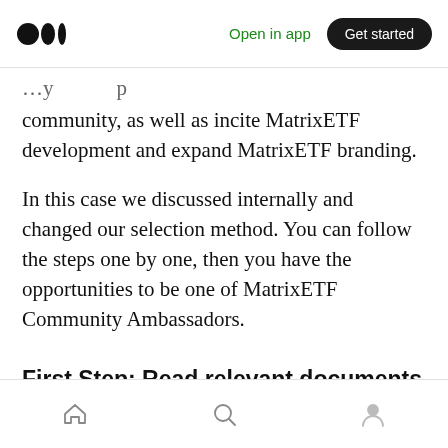Medium logo | Open in app | Get started
community, as well as incite MatrixETF development and expand MatrixETF branding.
In this case we discussed internally and changed our selection method. You can follow the steps one by one, then you have the opportunities to be one of MatrixETF Community Ambassadors.
First Step: Read relevant documents and fill out the application form
(Ones have already filled applications you can skip it)
Home | Search | Profile